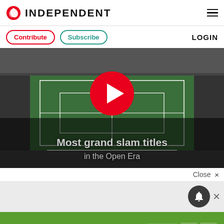[Figure (logo): The Independent newspaper logo with red phoenix icon and INDEPENDENT wordmark]
Contribute
Subscribe
LOGIN
[Figure (screenshot): Video thumbnail of aerial view of Wimbledon tennis court with red play button overlay and text 'Most grand slam titles in the Open Era']
Most grand slam titles in the Open Era
Close ×
[Figure (other): Gray section with dark circular notification bell icon and close X button]
[Figure (other): Green advertisement banner reading IF YOU CAN PLAN A BBQ with Ready, FEMA and ad logos]